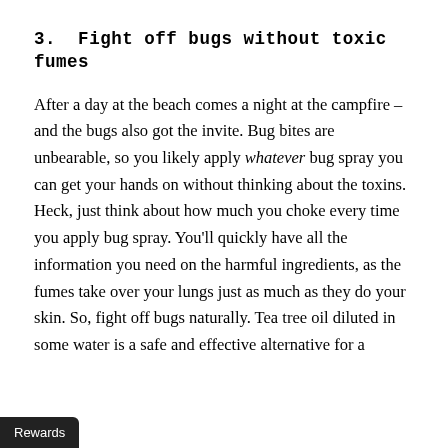3.  Fight off bugs without toxic fumes
After a day at the beach comes a night at the campfire – and the bugs also got the invite. Bug bites are unbearable, so you likely apply whatever bug spray you can get your hands on without thinking about the toxins. Heck, just think about how much you choke every time you apply bug spray. You'll quickly have all the information you need on the harmful ingredients, as the fumes take over your lungs just as much as they do your skin. So, fight off bugs naturally. Tea tree oil diluted in some water is a safe and effective alternative for a
Rewards